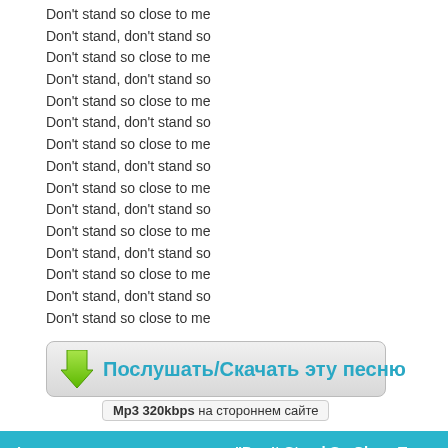Don't stand so close to me
Don't stand, don't stand so
Don't stand so close to me
Don't stand, don't stand so
Don't stand so close to me
Don't stand, don't stand so
Don't stand so close to me
Don't stand, don't stand so
Don't stand so close to me
Don't stand, don't stand so
Don't stand so close to me
Don't stand, don't stand so
Don't stand so close to me
Don't stand, don't stand so
Don't stand so close to me
[Figure (other): Download button with green arrow icon and Russian text 'Послушать/Скачать эту песню' with subtitle 'Mp3 320kbps на стороннем сайте']
А как ты думаешь, о чем песня "Don't Stand So Close To Me (With Sting vocals) (Bonus)" ?
Напиши о чем эта песня